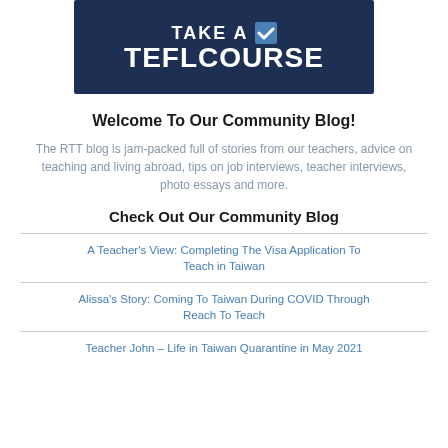[Figure (logo): Dark navy blue banner with 'TAKE A' text and a checkmark icon, then 'TEFLCOURSE' in large bold white text]
Welcome To Our Community Blog!
The RTT blog is jam-packed full of stories from our teachers, advice on teaching and living abroad, tips on job interviews, teacher interviews, photo essays and more.
Check Out Our Community Blog
A Teacher's View: Completing The Visa Application To Teach in Taiwan
Alissa's Story: Coming To Taiwan During COVID Through Reach To Teach
Teacher John – Life in Taiwan Quarantine in May 2021